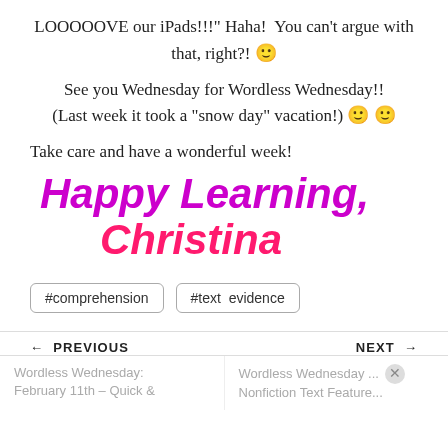LOOOOOVE our iPads!!!" Haha!  You can’t argue with that, right?! 🙂
See you Wednesday for Wordless Wednesday!! (Last week it took a “snow day” vacation!) 🙂 🙂
Take care and have a wonderful week!
Happy Learning,
Christina
#comprehension   #text evidence
← PREVIOUS   NEXT →
Wordless Wednesday: February 11th – Quick &   Wordless Wednesday ... Nonfiction Text Feature...